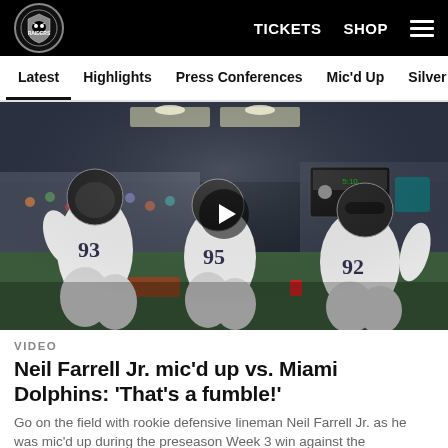Raiders | TICKETS  SHOP
Latest  Highlights  Press Conferences  Mic'd Up  Silver & Black
[Figure (photo): Three Raiders defensive linemen wearing white jerseys (numbers 93, 95, 92) celebrating on the sideline during a preseason game against the Miami Dolphins. A play button overlay is visible in the center.]
VIDEO
Neil Farrell Jr. mic'd up vs. Miami Dolphins: 'That's a fumble!'
Go on the field with rookie defensive lineman Neil Farrell Jr. as he was mic'd up during the preseason Week 3 win against the